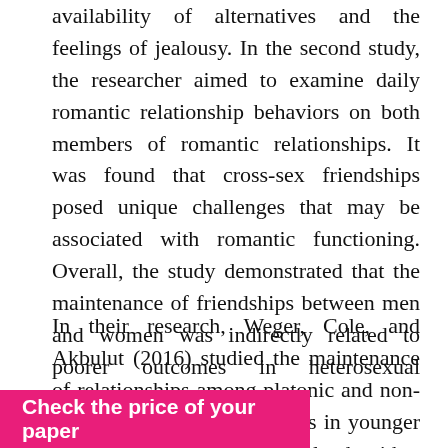availability of alternatives and the feelings of jealousy. In the second study, the researcher aimed to examine daily romantic relationship behaviors on both members of romantic relationships. It was found that cross-sex friendships posed unique challenges that may be associated with romantic functioning. Overall, the study demonstrated that the maintenance of friendships between men and women was indirectly related to poorer outcomes in heterosexual romantic relationships.
In their research, Weger, Cole, and Akbulut (2016) studied the maintenance of relationships among platonic and non-platonic cross-sex friendships in younger adults. The research involved either platonic opposite-sex friendships or friends with benefits in studying their behaviors related to the maintenance of relationships. The scholars found [that those who had] casual sex with their [friends had] the least relationship
[Figure (other): Pink/magenta banner button at bottom-left reading 'Check the price of your paper']